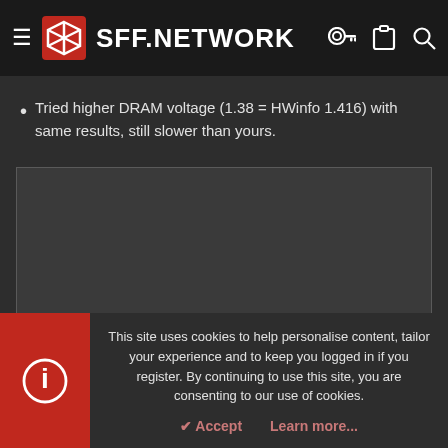SFF.NETWORK
Tried higher DRAM voltage (1.38 = HWinfo 1.416) with same results, still slower than yours.
[Figure (screenshot): Embedded dark screenshot or image area with dark background and border]
This site uses cookies to help personalise content, tailor your experience and to keep you logged in if you register. By continuing to use this site, you are consenting to our use of cookies.
Accept   Learn more...